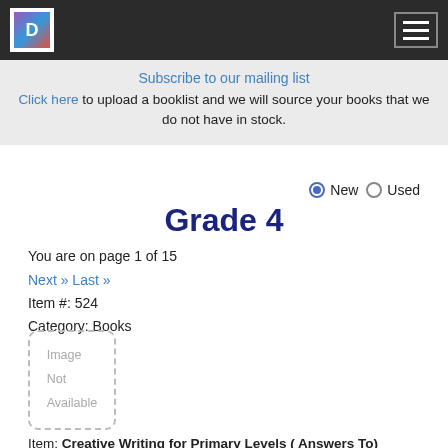Subscribe to our mailing list
Click here to upload a booklist and we will source your books that we do not have in stock.
● New ○ Used
Grade 4
You are on page 1 of 15
Next » Last »
Item #: 524
Category: Books
[Figure (other): Image Not Available placeholder box]
Item: Creative Writing for Primary Levels ( Answers To)